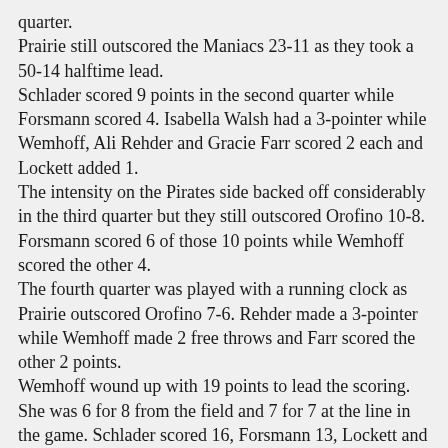quarter.
Prairie still outscored the Maniacs 23-11 as they took a 50-14 halftime lead.
Schlader scored 9 points in the second quarter while Forsmann scored 4. Isabella Walsh had a 3-pointer while Wemhoff, Ali Rehder and Gracie Farr scored 2 each and Lockett added 1.
The intensity on the Pirates side backed off considerably in the third quarter but they still outscored Orofino 10-8. Forsmann scored 6 of those 10 points while Wemhoff scored the other 4.
The fourth quarter was played with a running clock as Prairie outscored Orofino 7-6. Rehder made a 3-pointer while Wemhoff made 2 free throws and Farr scored the other 2 points.
Wemhoff wound up with 19 points to lead the scoring. She was 6 for 8 from the field and 7 for 7 at the line in the game. Schlader scored 16, Forsmann 13, Lockett and Rehder 5 each, Farr 4, Walsh 3 and Remacle 2.
Prairie had a 33-30 edge on the boards with Schlader having a double-double with 10 rebounds. Lockett added 8 boards.
Schlader had 6 steals while Forsmann had 4. Wemhoff had 5 assists.